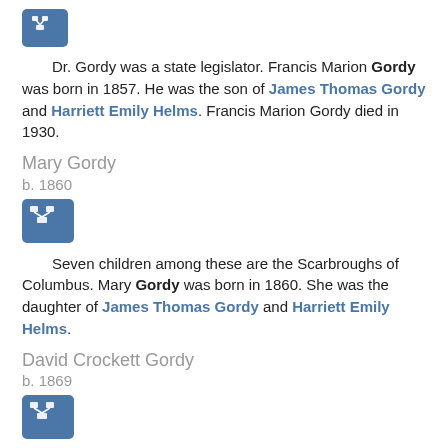[Figure (other): Small blue tree/family chart icon button at top left]
Dr. Gordy was a state legislator. Francis Marion Gordy was born in 1857. He was the son of James Thomas Gordy and Harriett Emily Helms. Francis Marion Gordy died in 1930.
Mary Gordy
b. 1860
[Figure (other): Small blue tree/family chart icon button]
Seven children among these are the Scarbroughs of Columbus. Mary Gordy was born in 1860. She was the daughter of James Thomas Gordy and Harriett Emily Helms.
David Crockett Gordy
b. 1869
[Figure (other): Small blue tree/family chart icon button]
David Crockett Gordy was born in 1869. He was the son of James Thomas Gordy and Harriett Emily Helms.